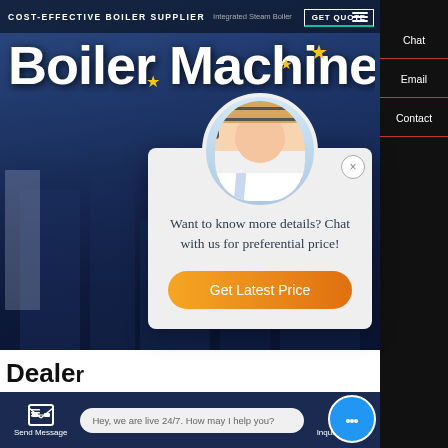COST-EFFECTIVE BOILER SUPPLIER | Integrated Steam Boiler
Boiler Machine
[Figure (screenshot): Website screenshot of a boiler supplier homepage with hero background showing industrial buildings, overlaid with a chat popup modal. Modal shows a customer service agent photo, text 'Want to know more details? Chat with us for preferential price!' and a 'Get Latest Price' button. Page also shows 'HOT NEWS' section, WhatsApp contact button, right sidebar with Chat/Email/Contact links, and bottom navigation bar with Send Message and Inquiry Online options.]
Want to know more details? Chat with us for preferential price!
Get Latest Price
Dealer
Contact us now!
HOT NEWS
Hey, we are live 24/7. How may I help you?
Send Message
Inquiry Online
Chat
Email
Contact